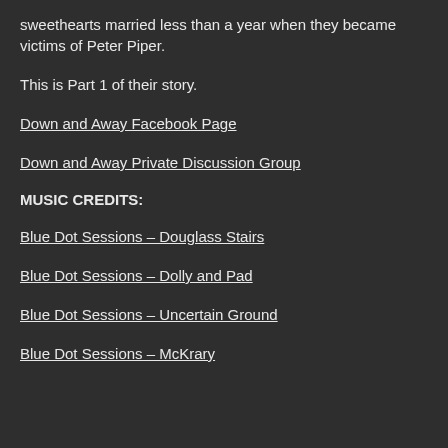sweethearts married less than a year when they became victims of Peter Piper.
This is Part 1 of their story.
Down and Away Facebook Page
Down and Away Private Discussion Group
MUSIC CREDITS:
Blue Dot Sessions – Douglass Stairs
Blue Dot Sessions – Dolly and Pad
Blue Dot Sessions – Uncertain Ground
Blue Dot Sessions – McKrary